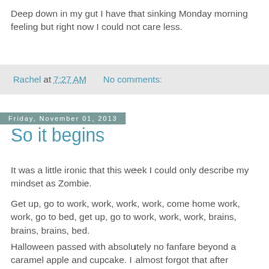Deep down in my gut I have that sinking Monday morning feeling but right now I could not care less.
Rachel at 7:27 AM    No comments:
Friday, November 01, 2013
So it begins
It was a little ironic that this week I could only describe my mindset as Zombie.
Get up, go to work, work, work, work, come home work, work, go to bed, get up, go to work, work, work, brains, brains, brains, bed.
Halloween passed with absolutely no fanfare beyond a caramel apple and cupcake. I almost forgot that after Halloween comes all the writing.